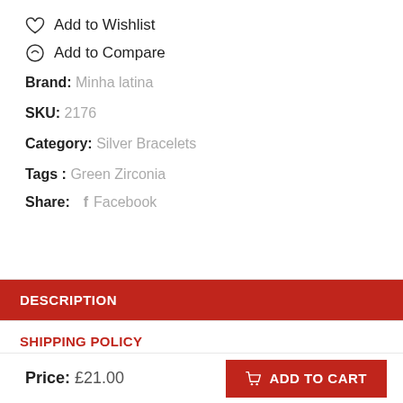Add to Wishlist
Add to Compare
Brand: Minha latina
SKU: 2176
Category: Silver Bracelets
Tags : Green Zirconia
Share: Facebook
DESCRIPTION
SHIPPING POLICY
RETURNS
Price: £21.00
ADD TO CART